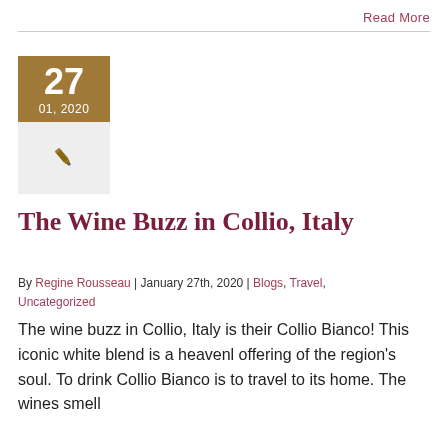Read More
[Figure (other): Date block with golden/brown background showing '27' in large text and '01, 2020' below, with a pen/fountain pen icon in a light grey box beneath]
The Wine Buzz in Collio, Italy
By Regine Rousseau | January 27th, 2020 | Blogs, Travel, Uncategorized
The wine buzz in Collio, Italy is their Collio Bianco! This iconic white blend is a heavenly offering of the region's soul. To drink Collio Bianco is to travel to its home. The wines smell